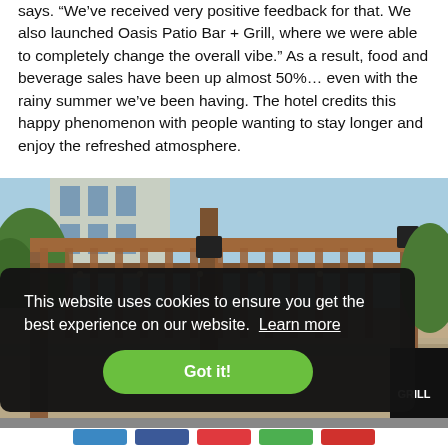says. “We’ve received very positive feedback for that. We also launched Oasis Patio Bar + Grill, where we were able to completely change the overall vibe.” As a result, food and beverage sales have been up almost 50%… even with the rainy summer we’ve been having. The hotel credits this happy phenomenon with people wanting to stay longer and enjoy the refreshed atmosphere.
[Figure (photo): Outdoor patio pergola with wooden beams and string lights against a blue sky, with a sign partially visible reading 'GRILL' on the right side.]
This website uses cookies to ensure you get the best experience on our website. Learn more
Got it!